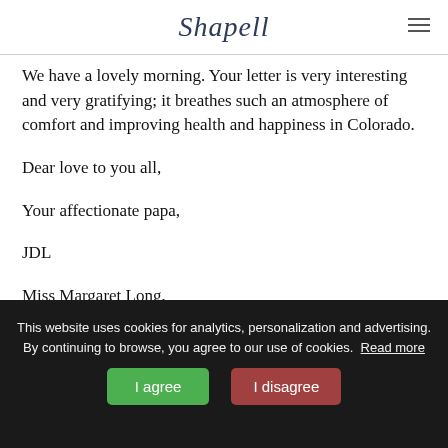Shapell
We have a lovely morning. Your letter is very interesting and very gratifying; it breathes such an atmosphere of comfort and improving health and happiness in Colorado.
Dear love to you all,
Your affectionate papa,
JDL
Miss Margaret Long,
This website uses cookies for analytics, personalization and advertising. By continuing to browse, you agree to our use of cookies. Read more
I agree | I disagree